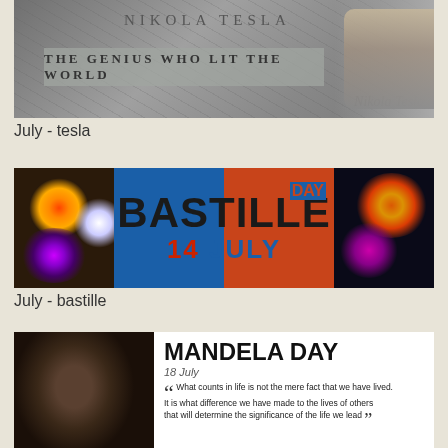[Figure (illustration): Nikola Tesla banner with dark gray background, lightning bolt graphics, portrait photo on right, 'NIKOLA TESLA' text at top, 'THE GENIUS WHO LIT THE WORLD' subtitle in gray box, and signature at bottom right]
July - tesla
[Figure (illustration): Bastille Day banner with fireworks on left and right sides, blue and orange/red center with large 'BASTILLE DAY' text and '14 JULY' in bold]
July - bastille
[Figure (illustration): Mandela Day banner with black and white portrait of Nelson Mandela on left, white background on right with 'MANDELA DAY' heading, '18 July' date, and a quote: 'What counts in life is not the mere fact that we have lived. It is what difference we have made to the lives of others that will determine the significance of the life we lead']